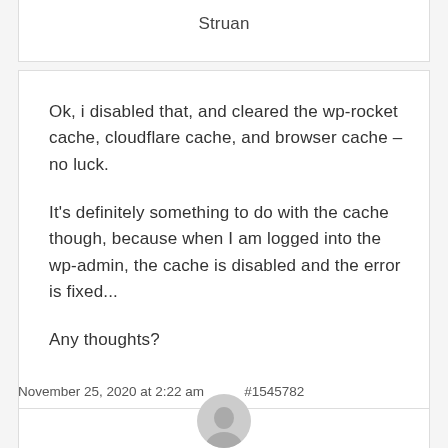Struan
Ok, i disabled that, and cleared the wp-rocket cache, cloudflare cache, and browser cache – no luck.

It's definitely something to do with the cache though, because when I am logged into the wp-admin, the cache is disabled and the error is fixed...

Any thoughts?
November 25, 2020 at 2:22 am  #1545782